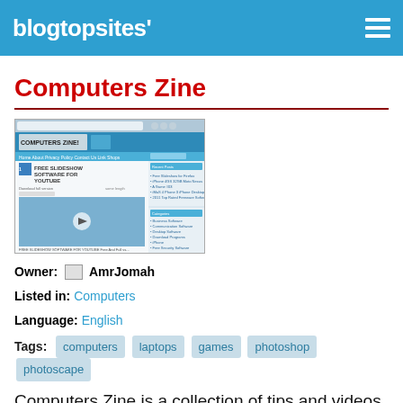blogtopsites'
Computers Zine
[Figure (screenshot): Screenshot of the Computers Zine website showing a blog with header 'COMPUTERS ZINE - THE TECHNOLOGY WORLD', navigation bar, a post titled 'FREE SLIDESHOW SOFTWARE FOR YOUTUBE', and sidebar content]
Owner: AmrJomah
Listed in: Computers
Language: English
Tags: computers   laptops   games   photoshop   photoscape
Computers Zine is a collection of tips and videos about Laptops, Mobiles, Spftwares and Games.